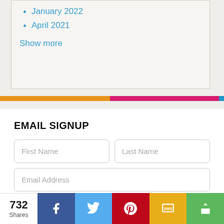January 2022
April 2021
Show more
EMAIL SIGNUP
First Name
Last Name
Email Address
732 Shares